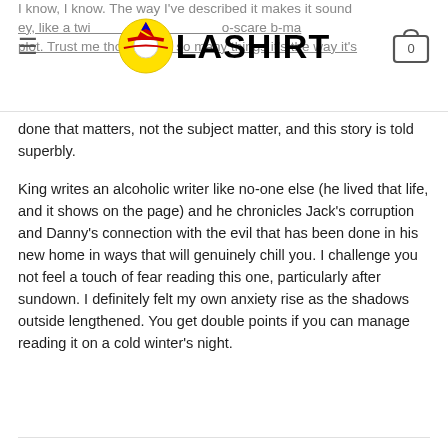OLASHIRT (logo with hamburger menu and cart icon showing 0)
I know, I know. The way I've described it makes it sound hey, like a twi- o-scare b-ma- plot. Trust me though, like so many things it's the way it's done that matters, not the subject matter, and this story is told superbly.
King writes an alcoholic writer like no-one else (he lived that life, and it shows on the page) and he chronicles Jack's corruption and Danny's connection with the evil that has been done in his new home in ways that will genuinely chill you. I challenge you not feel a touch of fear reading this one, particularly after sundown. I definitely felt my own anxiety rise as the shadows outside lengthened. You get double points if you can manage reading it on a cold winter's night.